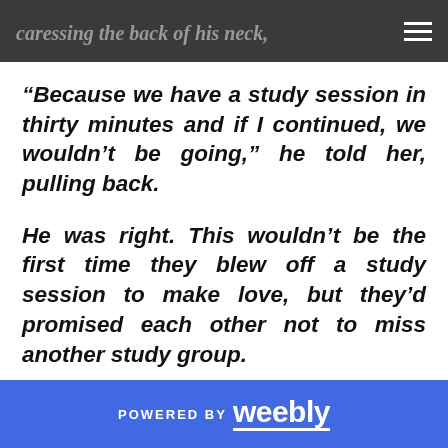caressing the back of his neck,
“Because we have a study session in thirty minutes and if I continued, we wouldn’t be going,” he told her, pulling back.
He was right. This wouldn’t be the first time they blew off a study session to make love, but they’d promised each other not to miss another study group.
POWERED BY weebly